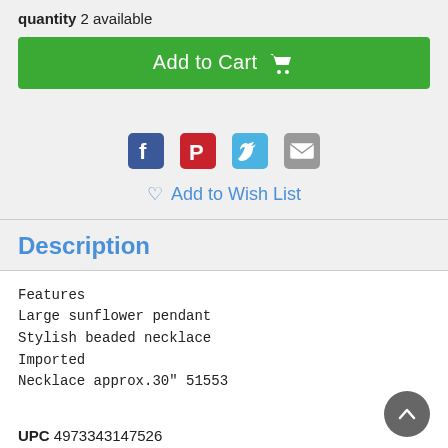quantity 2 available
Add to Cart
[Figure (infographic): Social sharing icons: Facebook, Pinterest, Twitter, Email]
Add to Wish List
Description
Features
Large sunflower pendant
Stylish beaded necklace
Imported
Necklace approx.30" 51553
UPC 4973343147526
Brand dealoras